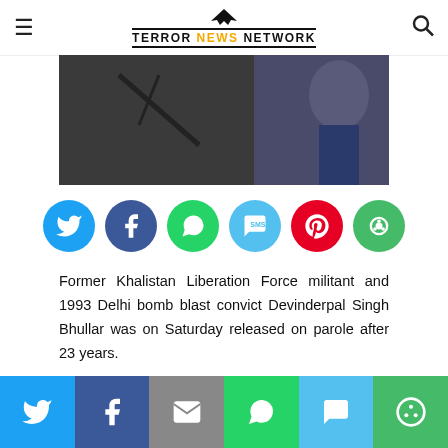TERROR NEWS NETWORK
[Figure (photo): Grayscale image showing two figures, one in a blue jacket, related to the news article about Devinderpal Singh Bhullar]
[Figure (infographic): Row of six social media share buttons: Twitter (blue), Facebook (dark blue), WhatsApp (green), SMS (light blue), Pinterest (red), More (green)]
Former Khalistan Liberation Force militant and 1993 Delhi bomb blast convict Devinderpal Singh Bhullar was on Saturday released on parole after 23 years.
The move comes a day after former militant Gurdeep Singh Khera walked out of Amritsar central jail on parole.
Share bar: Twitter, Facebook, Email, WhatsApp, SMS, More